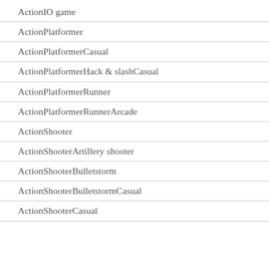ActionIO game
ActionPlatformer
ActionPlatformerCasual
ActionPlatformerHack & slashCasual
ActionPlatformerRunner
ActionPlatformerRunnerArcade
ActionShooter
ActionShooterArtillery shooter
ActionShooterBulletstorm
ActionShooterBulletstormCasual
ActionShooterCasual